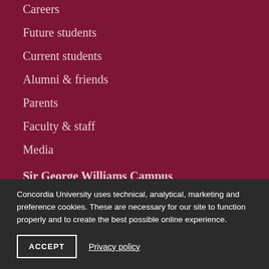Careers
Future students
Current students
Alumni & friends
Parents
Faculty & staff
Media
Sir George Williams Campus
1455 De Maisonneuve Blvd. W.
Montreal, Quebec, Canada
Concordia University uses technical, analytical, marketing and preference cookies. These are necessary for our site to function properly and to create the best possible online experience.
ACCEPT
Privacy policy